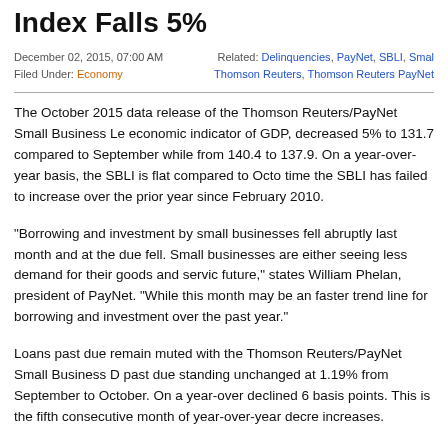Index Falls 5%
December 02, 2015, 07:00 AM | Filed Under: Economy | Related: Delinquencies, PayNet, SBLI, Small..., Thomson Reuters, Thomson Reuters PayNet ...
The October 2015 data release of the Thomson Reuters/PayNet Small Business Le... economic indicator of GDP, decreased 5% to 131.7 compared to September while from 140.4 to 137.9. On a year-over-year basis, the SBLI is flat compared to Octo... time the SBLI has failed to increase over the prior year since February 2010.
“Borrowing and investment by small businesses fell abruptly last month and at the due fell. Small businesses are either seeing less demand for their goods and servic... future,” states William Phelan, president of PayNet. “While this month may be an faster trend line for borrowing and investment over the past year.”
Loans past due remain muted with the Thomson Reuters/PayNet Small Business D... past due standing unchanged at 1.19% from September to October. On a year-over... declined 6 basis points. This is the fifth consecutive month of year-over-year decre... increases.
Several industries showed slight rises in delinquencies, such as Transportation whi... eighth consecutive monthly increase and its highest level since March 2014. Const... are both up 4 bps to 1.67% and 1.21%, respectively.